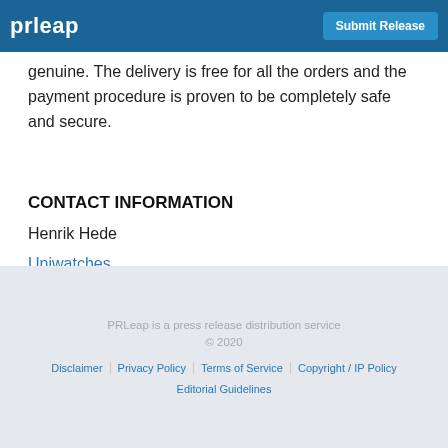prleap | Submit Release
genuine. The delivery is free for all the orders and the payment procedure is proven to be completely safe and secure.
CONTACT INFORMATION
Henrik Hede
Uniwatches
Contact Us
PRLeap is a press release distribution service © 2020 Disclaimer | Privacy Policy | Terms of Service | Copyright / IP Policy | Editorial Guidelines